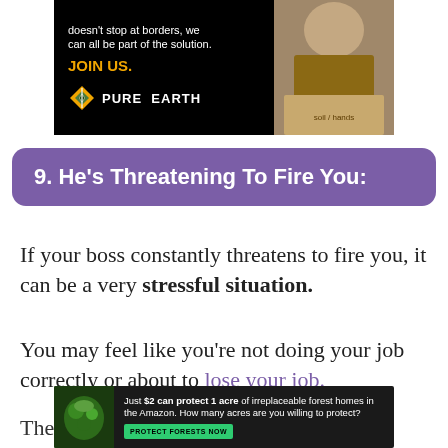[Figure (illustration): Pure Earth advertisement with black background, text reading 'doesn't stop at borders, we can all be part of the solution. JOIN US.' in gold, Pure Earth logo, and photo of person working with soil on right side.]
9. He's Threatening To Fire You:
If your boss constantly threatens to fire you, it can be a very stressful situation.
You may feel like you're not doing your job correctly or about to lose your job.
The best thing you can do is to...
[Figure (illustration): Amazon forest protection advertisement: 'Just $2 can protect 1 acre of irreplaceable forest homes in the Amazon. How many acres are you willing to protect?' with Protect Forests Now button and forest/animal imagery.]